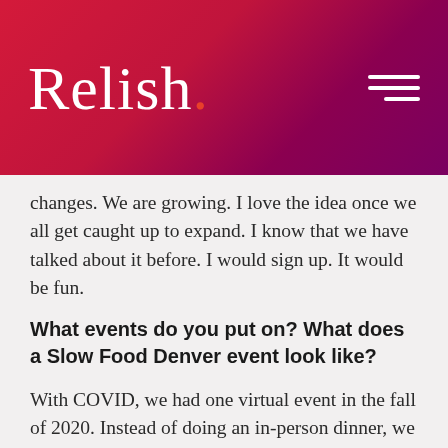Relish.
changes. We are growing. I love the idea once we all get caught up to expand. I know that we have talked about it before. I would sign up. It would be fun.
What events do you put on? What does a Slow Food Denver event look like?
With COVID, we had one virtual event in the fall of 2020. Instead of doing an in-person dinner, we had people pick up their dinner. It's similar to some other organizations. That was successful. Part of Slow Food is connecting with other people through food. We were missing that. The first event was on June 21 in-person to show everybody our new office